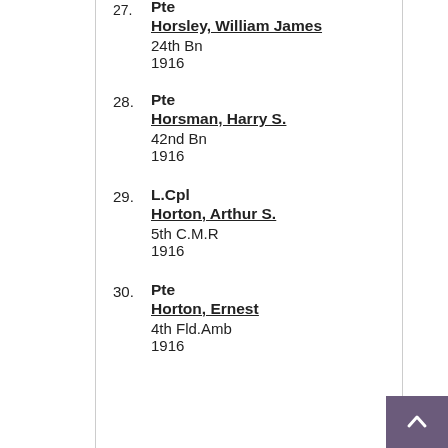27. Pte Horsley, William James 24th Bn 1916
28. Pte Horsman, Harry S. 42nd Bn 1916
29. L.Cpl Horton, Arthur S. 5th C.M.R 1916
30. Pte Horton, Ernest 4th Fld.Amb 1916